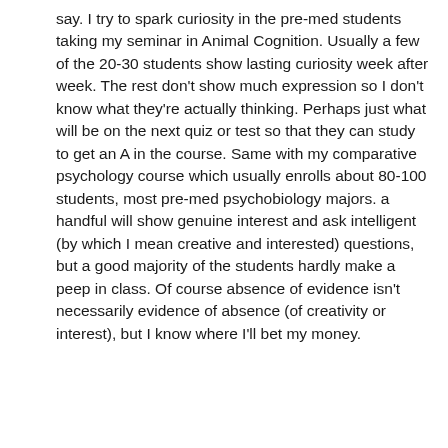say. I try to spark curiosity in the pre-med students taking my seminar in Animal Cognition. Usually a few of the 20-30 students show lasting curiosity week after week. The rest don't show much expression so I don't know what they're actually thinking. Perhaps just what will be on the next quiz or test so that they can study to get an A in the course. Same with my comparative psychology course which usually enrolls about 80-100 students, most pre-med psychobiology majors. a handful will show genuine interest and ask intelligent (by which I mean creative and interested) questions, but a good majority of the students hardly make a peep in class. Of course absence of evidence isn't necessarily evidence of absence (of creativity or interest), but I know where I'll bet my money.